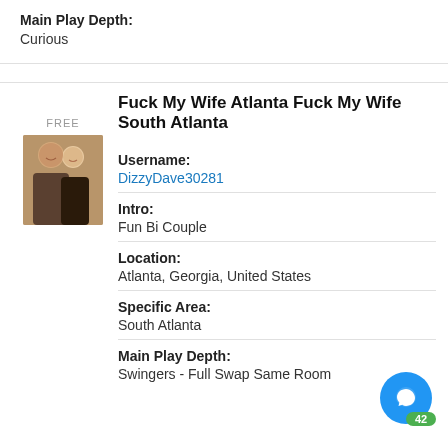Main Play Depth:
Curious
Fuck My Wife Atlanta Fuck My Wife South Atlanta
Username:
DizzyDave30281
[Figure (photo): Profile photo of a couple, man and woman smiling together]
Intro:
Fun Bi Couple
Location:
Atlanta, Georgia, United States
Specific Area:
South Atlanta
Main Play Depth:
Swingers - Full Swap Same Room